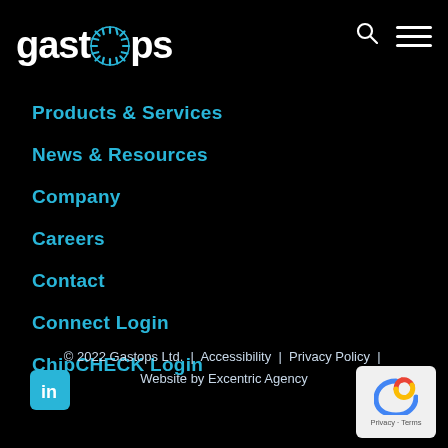[Figure (logo): Gastops logo in white text with stylized circular element replacing the 'o', on black background]
Products & Services
News & Resources
Company
Careers
Contact
Connect Login
ChipCHECK Login
[Figure (logo): LinkedIn icon — blue rounded square with white 'in' text]
© 2022 Gastops Ltd.  |  Accessibility  |  Privacy Policy  |  Website by Excentric Agency